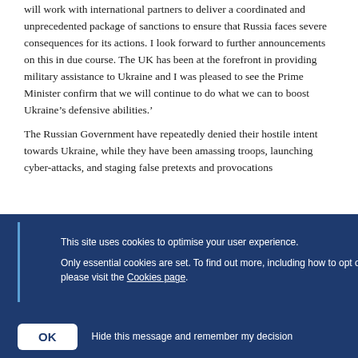will work with international partners to deliver a coordinated and unprecedented package of sanctions to ensure that Russia faces severe consequences for its actions. I look forward to further announcements on this in due course. The UK has been at the forefront in providing military assistance to Ukraine and I was pleased to see the Prime Minister confirm that we will continue to do what we can to boost Ukraine’s defensive abilities.’
The Russian Government have repeatedly denied their hostile intent towards Ukraine, while they have been amassing troops, launching cyber-attacks, and staging false pretexts and provocations
This site uses cookies to optimise your user experience.

Only essential cookies are set. To find out more, including how to opt out, please visit the Cookies page.
OK   Hide this message and remember my decision